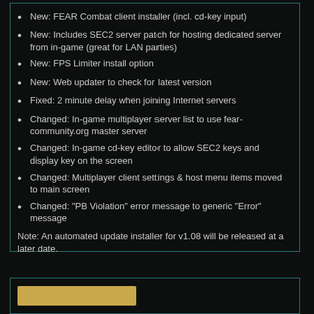New: FEAR Combat client installer (incl. cd-key input)
New: Includes SEC2 server patch for hosting dedicated server from in-game (great for LAN parties)
New: FPS Limiter install option
New: Web updater to check for latest version
Fixed: 2 minute delay when joining Internet servers
Changed: In-game multiplayer server list to use fear-community.org master server
Changed: In-game cd-key editor to allow SEC2 keys and display key on the screen
Changed: Multiplayer client settings & host menu items moved to main screen
Changed: "PB Violation" error message to generic "Error" message
Note: An automated update installer for v1.08 will be released at a later date.